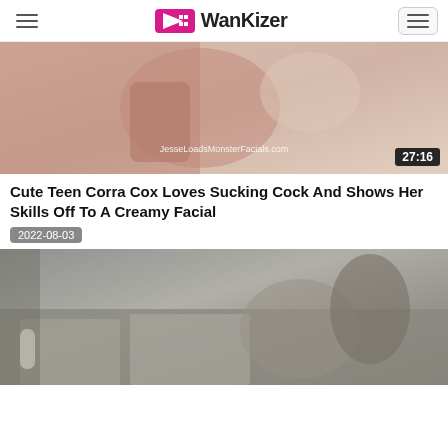WanKizer
[Figure (photo): Video thumbnail showing intimate scene, watermark JesseLoadsMonsterFacials.com, duration badge 27:16]
Cute Teen Corra Cox Loves Sucking Cock And Shows Her Skills Off To A Creamy Facial
2022-08-03
[Figure (photo): Video thumbnail showing couple in bedroom scene]